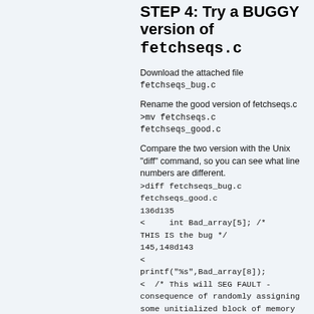STEP 4: Try a BUGGY version of fetchseqs.c
Download the attached file fetchseqs_bug.c
Rename the good version of fetchseqs.c
>mv fetchseqs.c fetchseqs_good.c
Compare the two version with the Unix "diff" command, so you can see what line numbers are different.
>diff fetchseqs_bug.c fetchseqs_good.c
136d135
<       int Bad_array[5]; /* THIS IS the bug */
145,148d143
<
printf("%s",Bad_array[8]);
<  /* This will SEG FAULT - consequence of randomly assigning some unitialized block of memory to a string-handling statement */
Good idea to set your break point here, at line 145.